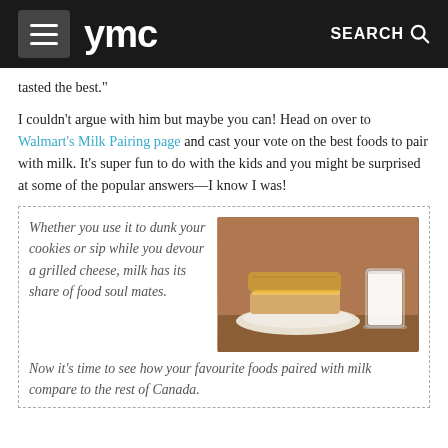ymc  SEARCH
tasted the best."
I couldn't argue with him but maybe you can! Head on over to Walmart's Milk Pairing page and cast your vote on the best foods to pair with milk. It's super fun to do with the kids and you might be surprised at some of the popular answers—I know I was!
[Figure (photo): Photo of a grilled cheese sandwich on a white plate alongside a tall glass of milk, set on a wooden table with a brown background. Accompanied by italic text: 'Whether you use it to dunk your cookies or sip while you devour a grilled cheese, milk has its share of food soul mates. Now it's time to see how your favourite foods paired with milk compare to the rest of Canada.']